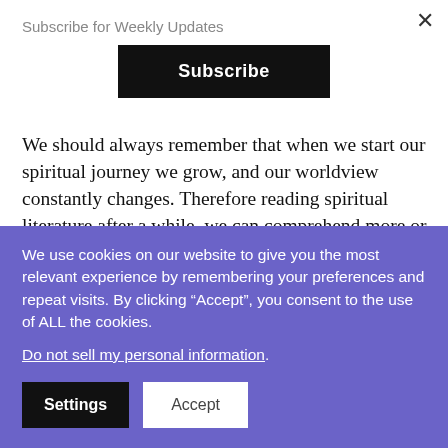Subscribe for Weekly Updates
Subscribe
We should always remember that when we start our spiritual journey we grow, and our worldview constantly changes. Therefore reading spiritual literature after a while, we can comprehend more or perceive it differently than we previously learned and understand. The mind perceives only what it reads that resonates with the level
We use cookies on our website to give you the most relevant experience by remembering your preferences and repeat visits. By clicking “Accept”, you consent to the use of ALL the cookies.
Do not sell my personal information.
Settings
Accept